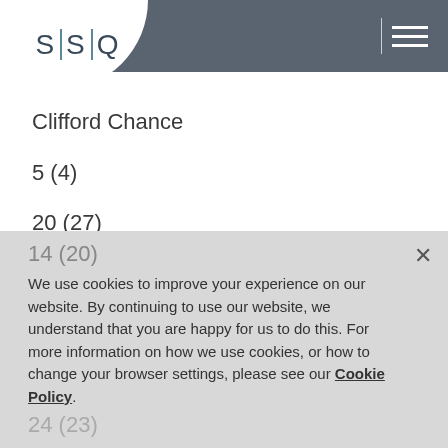SSQ
Clifford Chance
5 (4)
20 (27)
Freshfields
6 (8)
14 (20)
We use cookies to improve your experience on our website. By continuing to use our website, we understand that you are happy for us to do this. For more information on how we use cookies, or how to change your browser settings, please see our Cookie Policy.
24 (23)